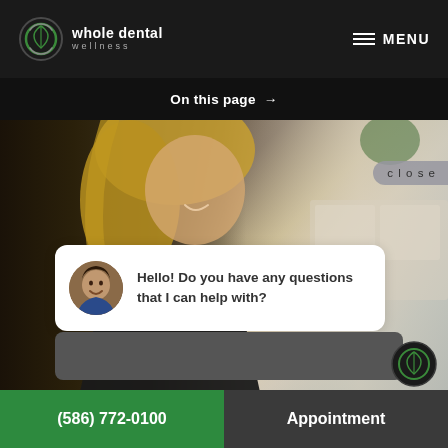whole dental wellness — MENU
On this page →
[Figure (photo): Smiling blonde woman in black top, dental office setting with white cabinetry in background]
close
Hello! Do you have any questions that I can help with?
(586) 772-0100    Appointment